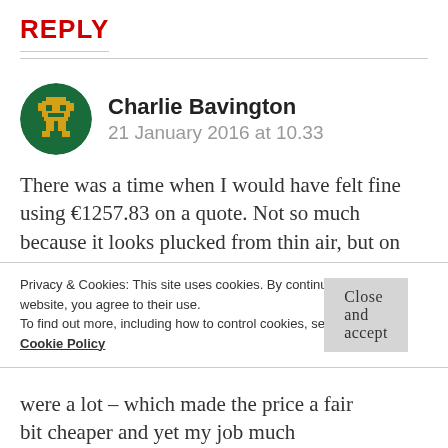REPLY
Charlie Bavington
21 January 2016 at 10.33
There was a time when I would have felt fine using €1257.83 on a quote. Not so much because it looks plucked from thin air, but on the contrary, because (to me anyway) it positively screams
Privacy & Cookies: This site uses cookies. By continuing to use this website, you agree to their use.
To find out more, including how to control cookies, see here:
Cookie Policy
Close and accept
were a lot – which made the price a fair bit cheaper and yet my job much